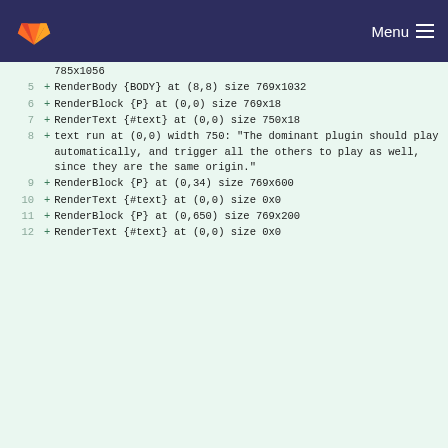Menu
[Figure (screenshot): GitLab code diff viewer showing render tree output lines 5-12 with green highlighted additions]
785x1056
5 + RenderBody {BODY} at (8,8) size 769x1032
6 + RenderBlock {P} at (0,0) size 769x18
7 + RenderText {#text} at (0,0) size 750x18
8 + text run at (0,0) width 750: "The dominant plugin should play automatically, and trigger all the others to play as well, since they are the same origin."
9 + RenderBlock {P} at (0,34) size 769x600
10 + RenderText {#text} at (0,0) size 0x0
11 + RenderBlock {P} at (0,650) size 769x200
12 + RenderText {#text} at (0,0) size 0x0